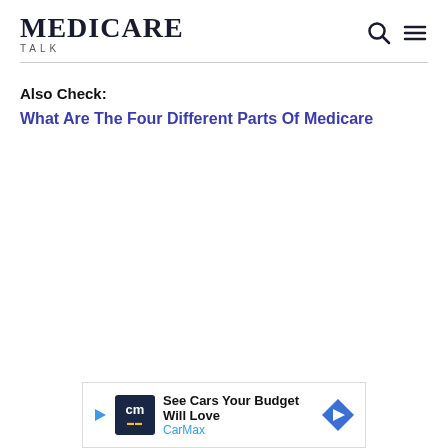MEDICARE TALK
Also Check:
What Are The Four Different Parts Of Medicare
[Figure (other): CarMax advertisement banner with play button, CarMax logo (cm), text 'See Cars Your Budget Will Love' and 'CarMax', and a blue diamond arrow icon]